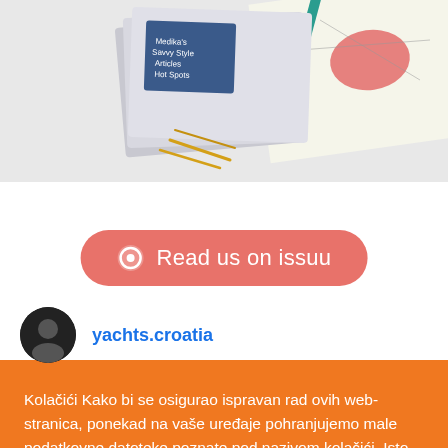[Figure (photo): Stacked magazines and map/navigation materials on white background]
[Figure (other): Read us on issuu button with Issuu icon, coral/salmon colored rounded button]
yachts.croatia
Kolačići Kako bi se osigurao ispravan rad ovih web-stranica, ponekad na vaše uređaje pohranjujemo male podatkovne datoteke poznate pod nazivom kolačići. Isto čini i većina velikih web-mjesta.
Prihvati
Change Settings